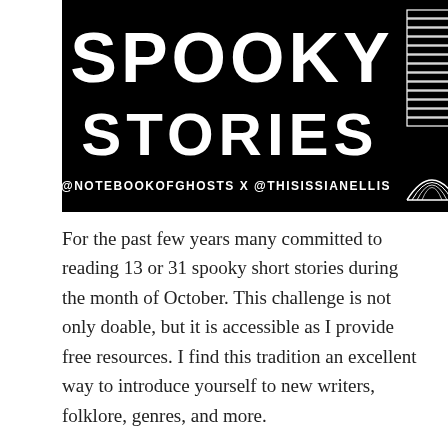[Figure (illustration): Black banner image with white hand-lettered text reading 'SPOOKY STORIES' and '@NOTEBOOKOFGHOSTS X @THISISSIANELLIS', with an illustration of stacked books on the right side]
For the past few years many committed to reading 13 or 31 spooky short stories during the month of October. This challenge is not only doable, but it is accessible as I provide free resources. I find this tradition an excellent way to introduce yourself to new writers, folklore, genres, and more.
What makes this year especially spooky is my